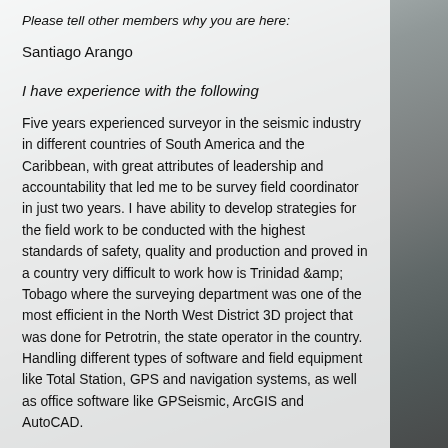Please tell other members why you are here:
Santiago Arango
I have experience with the following
Five years experienced surveyor in the seismic industry in different countries of South America and the Caribbean, with great attributes of leadership and accountability that led me to be survey field coordinator in just two years. I have ability to develop strategies for the field work to be conducted with the highest standards of safety, quality and production and proved in a country very difficult to work how is Trinidad &amp; Tobago where the surveying department was one of the most efficient in the North West District 3D project that was done for Petrotrin, the state operator in the country. Handling different types of software and field equipment like Total Station, GPS and navigation systems, as well as office software like GPSeismic, ArcGIS and AutoCAD.
[Figure (photo): Background photo of a surveyor wearing a yellow hard hat and carrying equipment in a field setting]